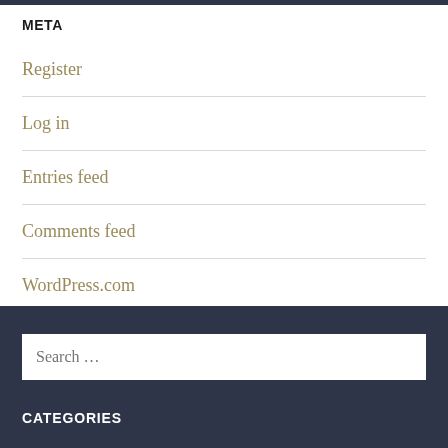META
Register
Log in
Entries feed
Comments feed
WordPress.com
Search …
CATEGORIES